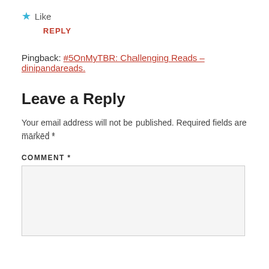★ Like
REPLY
Pingback: #5OnMyTBR: Challenging Reads – dinipandareads.
Leave a Reply
Your email address will not be published. Required fields are marked *
COMMENT *